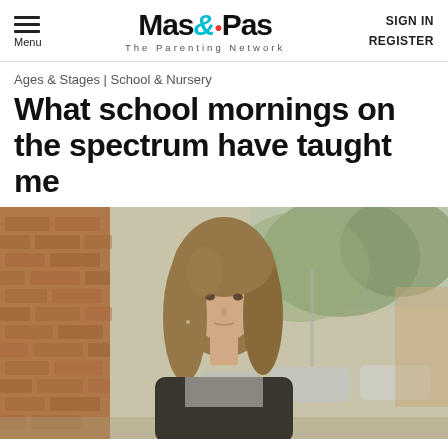Menu | Mas&Pas The Parenting Network | SIGN IN REGISTER
Ages & Stages | School & Nursery
What school mornings on the spectrum have taught me
[Figure (photo): A woman with long blonde hair wearing a black jacket, standing outdoors against a brick wall with blurred trees and parked cars in the background.]